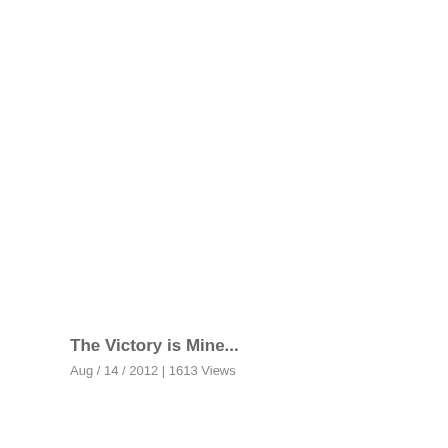The Victory is Mine...
Aug / 14 / 2012 | 1613 Views